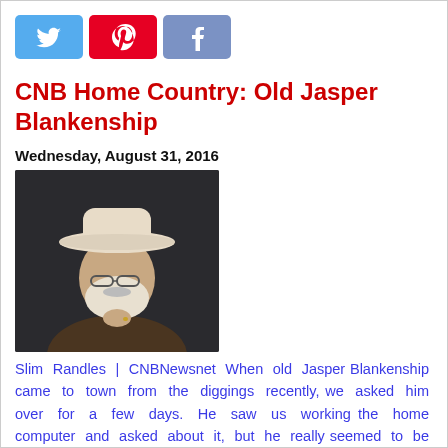[Figure (other): Social media share buttons: Twitter (blue bird), Pinterest (red P), Facebook (blue/gray F)]
CNB Home Country: Old Jasper Blankenship
Wednesday, August 31, 2016
[Figure (photo): Portrait of an elderly man with white beard and white cowboy hat, wearing glasses, resting chin on hand, dark background]
Slim Randles | CNBNewsnet When old Jasper Blankenship came to town from the diggings recently, we asked him over for a few days. He saw us working the home computer and asked about it, but he really seemed to be immune to its wonders. But then my